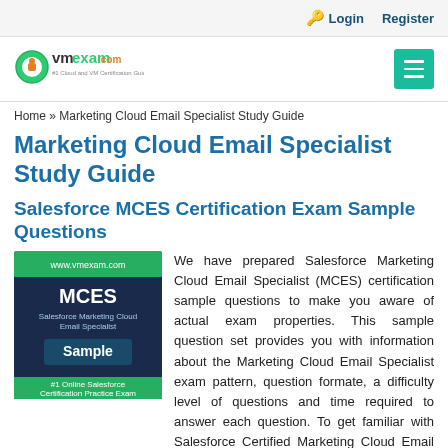Login   Register
[Figure (logo): vmexam logo with text '#1 Cloud and VM Certification Guide']
Home » Marketing Cloud Email Specialist Study Guide
Marketing Cloud Email Specialist Study Guide
Salesforce MCES Certification Exam Sample Questions
[Figure (other): MCES Salesforce Marketing Cloud Email Specialist Sample book cover with green header, dark navy background, and green footer]
We have prepared Salesforce Marketing Cloud Email Specialist (MCES) certification sample questions to make you aware of actual exam properties. This sample question set provides you with information about the Marketing Cloud Email Specialist exam pattern, question formate, a difficulty level of questions and time required to answer each question. To get familiar with Salesforce Certified Marketing Cloud Email Specialist exam, we suggest you try our Sample